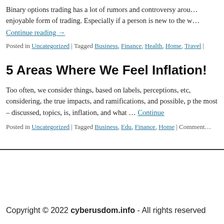Binary options trading has a lot of rumors and controversy arou… enjoyable form of trading. Especially if a person is new to the w…
Continue reading →
Posted in Uncategorized | Tagged Business, Finance, Health, Home, Travel |
5 Areas Where We Feel Inflation!
Too often, we consider things, based on labels, perceptions, etc, considering, the true impacts, and ramifications, and possible, p the most – discussed, topics, is, inflation, and what … Continue
Posted in Uncategorized | Tagged Business, Edu, Finance, Home | Comment…
Copyright © 2022 cyberusdom.info - All rights reserved